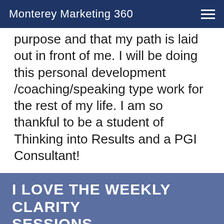Monterey Marketing 360
purpose and that my path is laid out in front of me. I will be doing this personal development /coaching/speaking type work for the rest of my life. I am so thankful to be a student of Thinking into Results and a PGI Consultant!
TEST DRIVE THINKING INTO RESULTS FOR FREE
I LOVE THE WEEKLY CLARITY SESSIONS